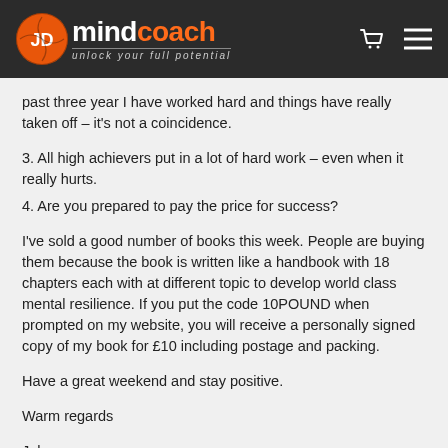JD mindcoach – unlock your full potential
past three year I have worked hard and things have really taken off – it's not a coincidence.
3. All high achievers put in a lot of hard work – even when it really hurts.
4. Are you prepared to pay the price for success?
I've sold a good number of books this week. People are buying them because the book is written like a handbook with 18 chapters each with at different topic to develop world class mental resilience. If you put the code 10POUND when prompted on my website, you will receive a personally signed copy of my book for £10 including postage and packing.
Have a great weekend and stay positive.
Warm regards
John